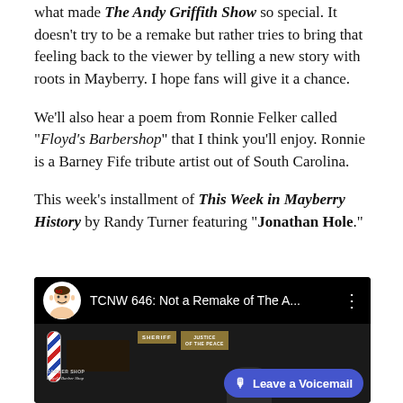what made The Andy Griffith Show so special. It doesn't try to be a remake but rather tries to bring that feeling back to the viewer by telling a new story with roots in Mayberry. I hope fans will give it a chance.
We'll also hear a poem from Ronnie Felker called "Floyd's Barbershop" that I think you'll enjoy. Ronnie is a Barney Fife tribute artist out of South Carolina.
This week's installment of This Week in Mayberry History by Randy Turner featuring "Jonathan Hole."
[Figure (screenshot): YouTube video thumbnail showing 'TCNW 646: Not a Remake of The A...' with a barbershop scene thumbnail including SHERIFF and JUSTICE OF THE PEACE signs, a barber pole, and a Leave a Voicemail button overlay]